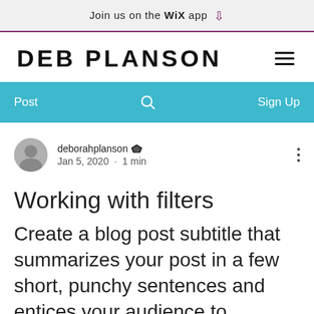Join us on the WiX app ⬇
DEB PLANSON
Post   🔍   Sign Up
deborahplanson 👑 Admin
Jan 5, 2020 · 1 min
Working with filters
Create a blog post subtitle that summarizes your post in a few short, punchy sentences and entices your audience to